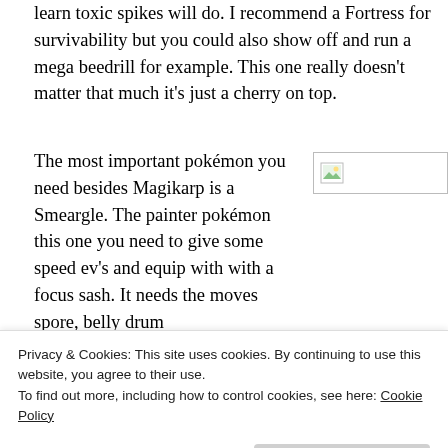learn toxic spikes will do. I recommend a Fortress for survivability but you could also show off and run a mega beedrill for example. This one really doesn't matter that much it's just a cherry on top.
The most important pokémon you need besides Magikarp is a Smeargle. The painter pokémon this one you need to give some speed ev's and equip with with a focus sash. It needs the moves spore, belly drum
[Figure (photo): Broken/missing image placeholder with small landscape icon]
baton pass and substitute. It would be best off with a
Privacy & Cookies: This site uses cookies. By continuing to use this website, you agree to their use.
To find out more, including how to control cookies, see here: Cookie Policy
Close and accept